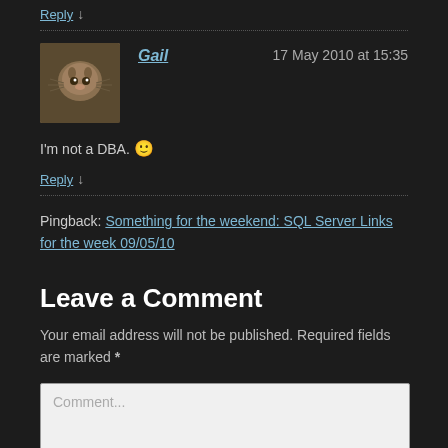Reply ↓
Gail — 17 May 2010 at 15:35
I'm not a DBA. 🙂
Reply ↓
Pingback: Something for the weekend: SQL Server Links for the week 09/05/10
Leave a Comment
Your email address will not be published. Required fields are marked *
Comment...